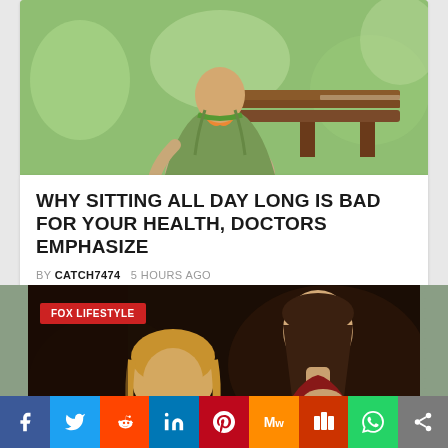[Figure (photo): Woman in green jacket and colorful scarf sitting outdoors on a bench]
WHY SITTING ALL DAY LONG IS BAD FOR YOUR HEALTH, DOCTORS EMPHASIZE
BY CATCH7474   5 HOURS AGO
[Figure (photo): Classical painting of Madonna and child, with FOX LIFESTYLE badge overlay]
f  Twitter  Reddit  in  Pinterest  MW  Mix  WhatsApp  Share